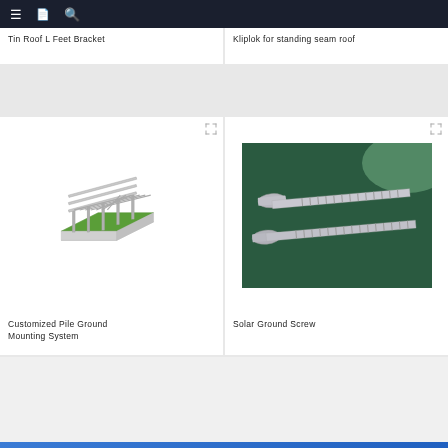navigation bar
Tin Roof L Feet Bracket
Kliplok for standing seam roof
[Figure (illustration): 3D rendering of a customized pile ground mounting system showing a metal frame structure with vertical piles and horizontal rails on a green and white base]
Customized Pile Ground Mounting System
[Figure (photo): Photo of two solar ground screws (lag bolts) on a dark green surface]
Solar Ground Screw